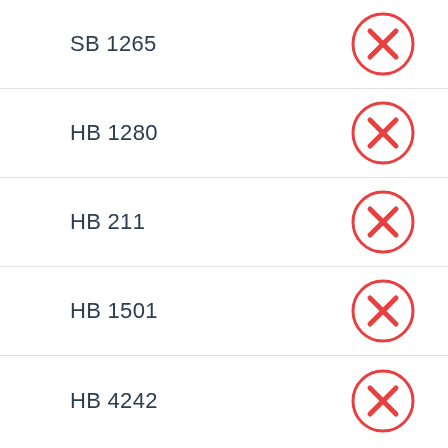SB 1265
HB 1280
HB 211
HB 1501
HB 4242